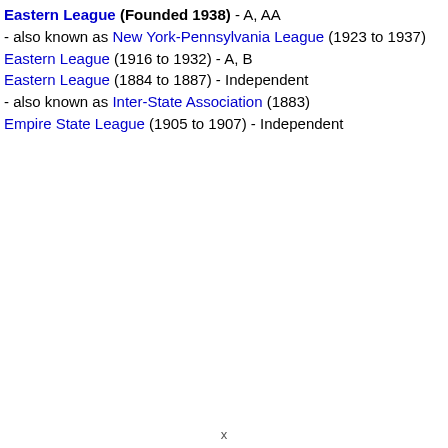Eastern League (Founded 1938) - A, AA - also known as New York-Pennsylvania League (1923 to 1937) Eastern League (1916 to 1932) - A, B Eastern League (1884 to 1887) - Independent - also known as Inter-State Association (1883) Empire State League (1905 to 1907) - Independent
x